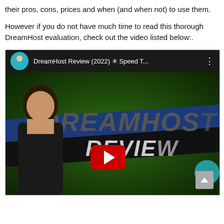their pros, cons, prices and when (and when not) to use them.
However if you do not have much time to read this thorough DreamHost evaluation, check out the video listed below:.
[Figure (screenshot): YouTube video embed showing 'DreamHost Review (2022) * Speed T...' with a thumbnail showing the word DREAMHOST and REVIEW on a green background with a person and a YouTube play button.]